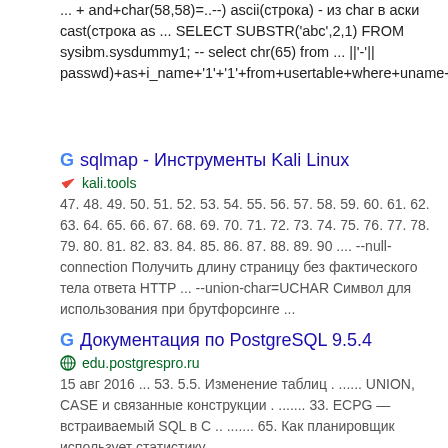... + and+char(58,58)=..--) ascii(строка) - из char в аски cast(строка as ... SELECT SUBSTR('abc',2,1) FROM sysibm.sysdummy1; -- select chr(65) from ... ||'-'|| passwd)+as+i_name+'1'+'1'+from+usertable+where+uname+like+'25
sqlmap - Инструменты Kali Linux
kali.tools
47. 48. 49. 50. 51. 52. 53. 54. 55. 56. 57. 58. 59. 60. 61. 62. 63. 64. 65. 66. 67. 68. 69. 70. 71. 72. 73. 74. 75. 76. 77. 78. 79. 80. 81. 82. 83. 84. 85. 86. 87. 88. 89. 90 .... --null-connection Получить длину страницу без фактического тела ответа HTTP ... --union-char=UCHAR Символ для использования при брутфорсинге ...
Документация по PostgreSQL 9.5.4
edu.postgrespro.ru
15 авг 2016 ... 53. 5.5. Изменение таблиц . ...... UNION, CASE и связанные конструкции . ....... 33. ECPG — встраиваемый SQL в С .. ....... 65. Как планировщик использует статистику .